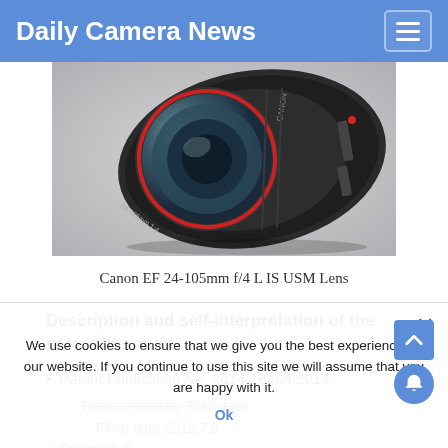Daily Camera News
[Figure (photo): Canon EF 24-105mm f/4 L IS USM Lens — close-up photograph of a Canon zoom lens against a light grey background, showing the red ring and lens barrel markings.]
Canon EF 24-105mm f/4 L IS USM Lens
Description and self-interpretation of the patent literature
Patent Publication No. 2014-16464, 2014-
Publication date 2014.1.30
Filing date 2012.7.9
Example 3
We use cookies to ensure that we give you the best experience on our website. If you continue to use this site we will assume that you are happy with it.
Ok